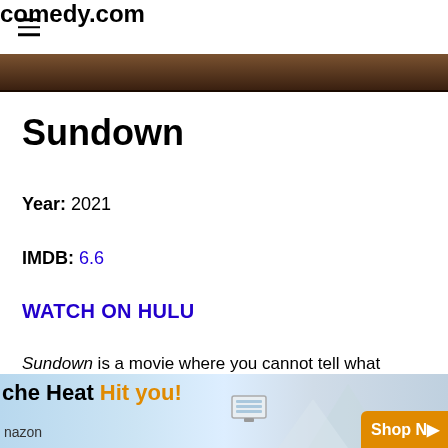comedy.com
[Figure (photo): Cropped top portion of a movie image, dark brownish tones]
Sundown
Year: 2021
IMDB: 6.6
WATCH ON HULU
Sundown is a movie where you cannot tell what
[Figure (infographic): Advertisement banner: 'the Heat Hit you!' with AC unit image, mountain background, Shop Now button, amazon text]